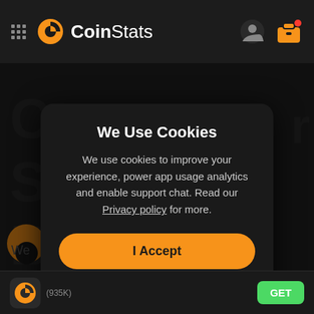CoinStats
We Use Cookies
We use cookies to improve your experience, power app usage analytics and enable support chat. Read our Privacy policy for more.
I Accept
Manage
(935K)  GET